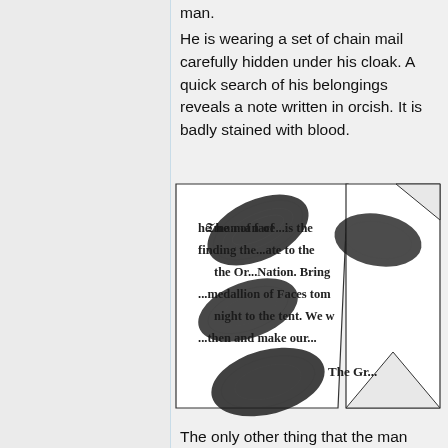man.
He is wearing a set of chain mail carefully hidden under his cloak. A quick search of his belongings reveals a note written in orcish. It is badly stained with blood.
[Figure (illustration): A torn/folded note written in gothic blackletter script, partially obscured by large dark bloody fingerprint smudges. The visible text reads: '...he man of face...is the...finding the...ate to the...the Or...Nation. Bring...medallion of Faces tom...night to the tent. We w...then and make our...The Gr...']
The only other thing that the man has on